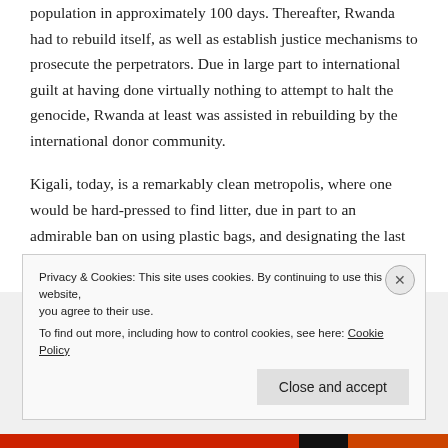population in approximately 100 days.  Thereafter, Rwanda had to rebuild itself, as well as establish justice mechanisms to prosecute the perpetrators.  Due in large part to international guilt at having done virtually nothing to attempt to halt the genocide, Rwanda at least was assisted in rebuilding by the international donor community.
Kigali, today, is a remarkably clean metropolis, where one would be hard-pressed to find litter, due in part to an admirable ban on using plastic bags, and designating the last Thursday of every month as a day where every
Privacy & Cookies: This site uses cookies. By continuing to use this website, you agree to their use.
To find out more, including how to control cookies, see here: Cookie Policy